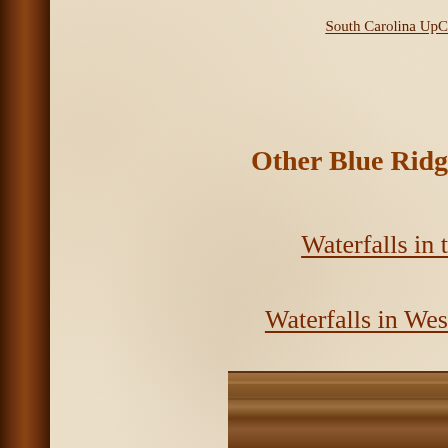South Carolina UpC
Other Blue Ridg
Waterfalls in t
Waterfalls in Wes
Waterfalls in
Waterfalls in the Ten